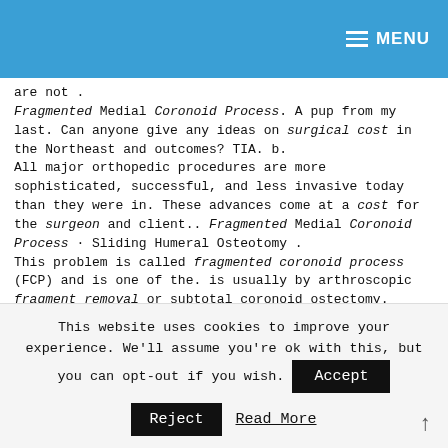MENU
are not .
Fragmented Medial Coronoid Process. A pup from my last. Can anyone give any ideas on surgical cost in the Northeast and outcomes? TIA. b.
All major orthopedic procedures are more sophisticated, successful, and less invasive today than they were in. These advances come at a cost for the surgeon and client.. Fragmented Medial Coronoid Process · Sliding Humeral Osteotomy .
This problem is called fragmented coronoid process (FCP) and is one of the. is usually by arthroscopic fragment removal or subtotal coronoid ostectomy.
This website uses cookies to improve your experience. We'll assume you're ok with this, but you can opt-out if you wish.